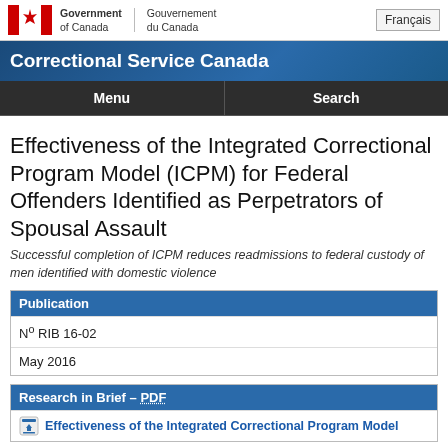Government of Canada / Gouvernement du Canada | Français
Correctional Service Canada
Menu | Search
Effectiveness of the Integrated Correctional Program Model (ICPM) for Federal Offenders Identified as Perpetrators of Spousal Assault
Successful completion of ICPM reduces readmissions to federal custody of men identified with domestic violence
| Publication |
| --- |
| Nº RIB 16-02 |
| May 2016 |
Research in Brief - PDF
Effectiveness of the Integrated Correctional Program Model